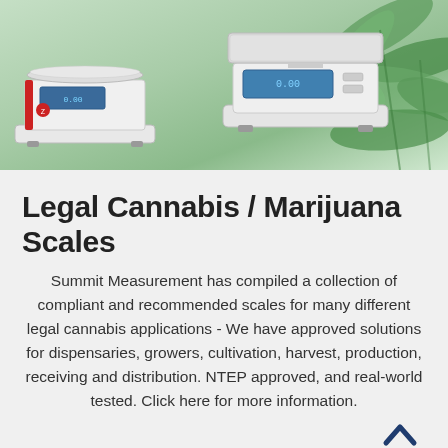[Figure (photo): Photo banner showing two laboratory/precision scales (one red-accented on left, one larger on right) against a backdrop of green cannabis/marijuana plant leaves]
Legal Cannabis / Marijuana Scales
Summit Measurement has compiled a collection of compliant and recommended scales for many different legal cannabis applications - We have approved solutions for dispensaries, growers, cultivation, harvest, production, receiving and distribution. NTEP approved, and real-world tested. Click here for more information.
[Figure (other): Upward-pointing chevron/caret icon in blue, used as a scroll-up button]
SHOP CANNABIS SCALES